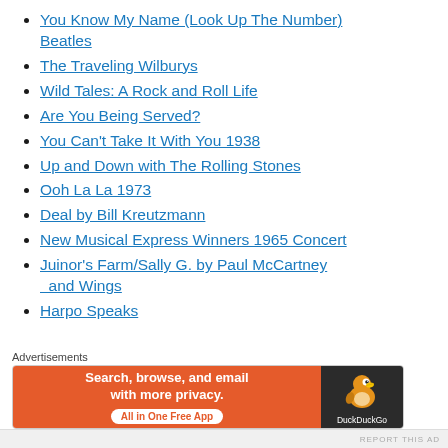You Know My Name (Look Up The Number) Beatles
The Traveling Wilburys
Wild Tales: A Rock and Roll Life
Are You Being Served?
You Can't Take It With You 1938
Up and Down with The Rolling Stones
Ooh La La 1973
Deal by Bill Kreutzmann
New Musical Express Winners 1965 Concert
Juinor's Farm/Sally G. by Paul McCartney and Wings
Harpo Speaks
Advertisements
[Figure (infographic): DuckDuckGo advertisement banner: orange left panel reading 'Search, browse, and email with more privacy. All in One Free App' with dark right panel showing DuckDuckGo duck logo and brand name.]